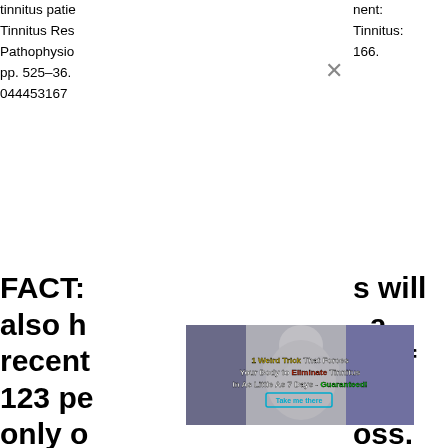tinnitus patie
Tinnitus Res
Pathophysio
pp. 525–36.
044453167
nent:
Tinnitus:
166.
FACT: s will
also h , a
recent at of
123 pe ed
only o oss.
The Bi l
estima ople
with ti g
loss. M nat
those dden
hearin
[Figure (photo): Advertisement overlay showing a woman holding her head in pain, with text: '1 Weird Trick That Forces Your Body to Eliminate Tinnitus In As Little As 7 Days - Guaranteed! Take me there']
[Figure (other): Close/X button for dismissing the advertisement overlay]